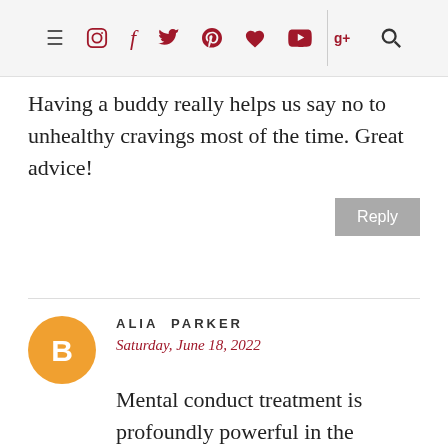≡ [instagram] f [twitter] [pinterest] ♥ [youtube] g+ [search]
Having a buddy really helps us say no to unhealthy cravings most of the time. Great advice!
Reply
ALIA PARKER
Saturday, June 18, 2022
Mental conduct treatment is profoundly powerful in the treatment of nervousness. During CBT treatment, your clinician will assist you with learning various ways of recognizing and deal with